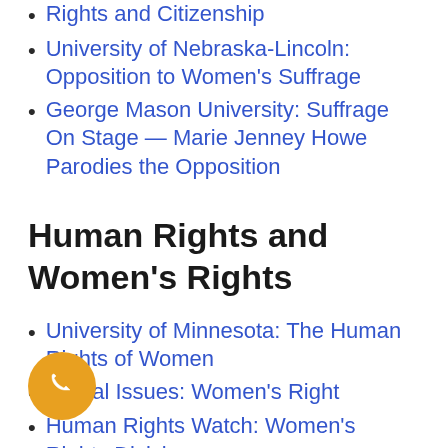Rights and Citizenship
University of Nebraska-Lincoln: Opposition to Women's Suffrage
George Mason University: Suffrage On Stage — Marie Jenney Howe Parodies the Opposition
Human Rights and Women's Rights
University of Minnesota: The Human Rights of Women
Global Issues: Women's Right
Human Rights Watch: Women's Rights Division